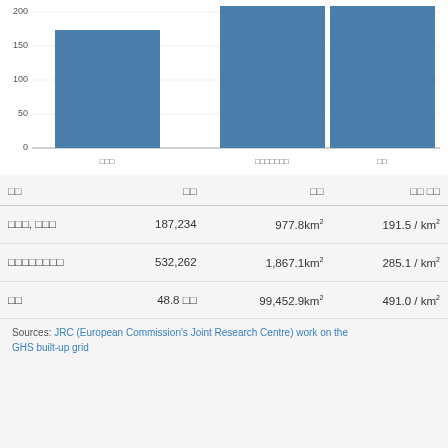[Figure (bar-chart): ]
| □□ | □□ | □□ | □□ □□ |
| --- | --- | --- | --- |
| □□□, □□□ | 187,234 | 977.8km² | 191.5 / km² |
| □□□□□□□□ | 532,262 | 1,867.1km² | 285.1 / km² |
| □□ | 48.8 □□ | 99,452.9km² | 491.0 / km² |
Sources: JRC (European Commission's Joint Research Centre) work on the GHS built-up grid